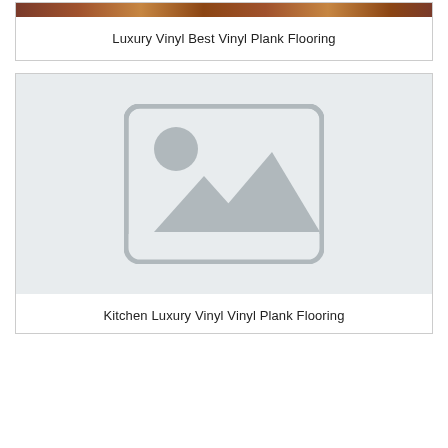[Figure (photo): Cropped top portion of a wood-grain luxury vinyl plank flooring image, showing brown tones]
Luxury Vinyl Best Vinyl Plank Flooring
[Figure (photo): Placeholder image with grey background showing a generic image placeholder icon (mountains and sun)]
Kitchen Luxury Vinyl Vinyl Plank Flooring